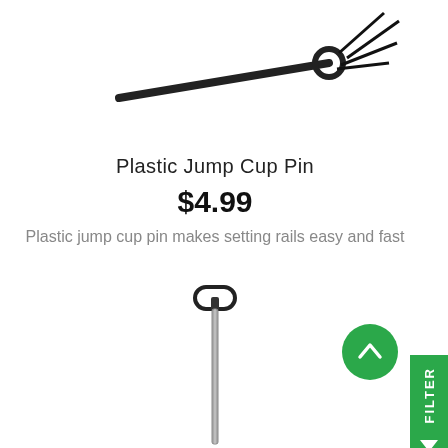[Figure (photo): A black plastic jump cup pin product photo on white background - partial view at top of page]
Plastic Jump Cup Pin
$4.99
Plastic jump cup pin makes setting rails easy and fast
[Figure (photo): A long-handled shovel with D-grip handle, silver/grey metal shaft, partial view showing top portion of shovel]
[Figure (other): Green circular scroll-to-top button with upward arrow]
[Figure (other): Green filter tab on right side with FILTER text and funnel icon]